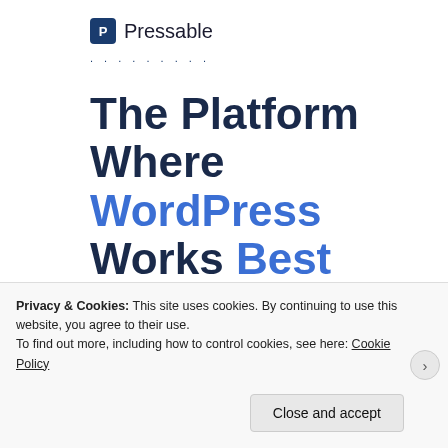[Figure (logo): Pressable logo with blue P icon and wordmark]
The Platform Where WordPress Works Best
[Figure (other): SEE PRICING blue button]
REPORT THIS AD
Share this:
[Figure (other): Row of social sharing icon circles]
Privacy & Cookies: This site uses cookies. By continuing to use this website, you agree to their use. To find out more, including how to control cookies, see here: Cookie Policy
Close and accept